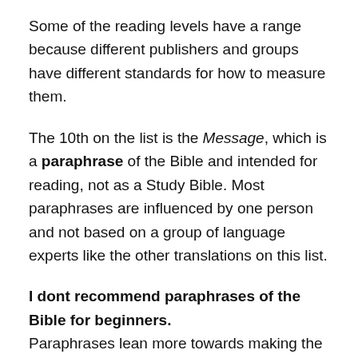Some of the reading levels have a range because different publishers and groups have different standards for how to measure them.
The 10th on the list is the Message, which is a paraphrase of the Bible and intended for reading, not as a Study Bible. Most paraphrases are influenced by one person and not based on a group of language experts like the other translations on this list.
I dont recommend paraphrases of the Bible for beginners. Paraphrases lean more towards making the original text flow smoother in English. They can also contain biases from one individual translator rather than a team.
This doesnt mean that paraphrases dont have their place as devotional-type reading Bibles. I recommend paraphrases to